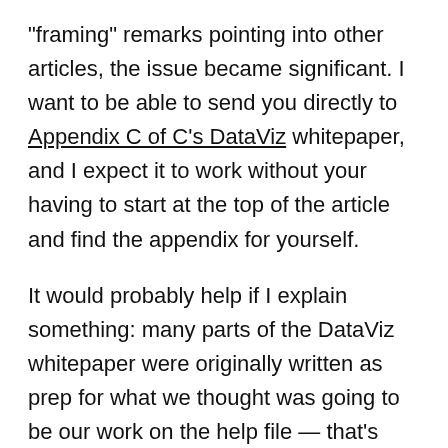"framing" remarks pointing into other articles, the issue became significant.  I want to be able to send you directly to Appendix C of C's DataViz whitepaper, and I expect it to work without your having to start at the top of the article and find the appendix for yourself.
It would probably help if I explain something: many parts of the DataViz whitepaper were originally written as prep for what we thought was going to be our work on the help file — that's water under the bridge, the origin story for TMM — so there is really no excuse for having to write the stuff all over again.  What's in that article is the right stuff for TMM.
So — with the kick in the pants of a similar problem to solve at work — I wrote the following little javascript